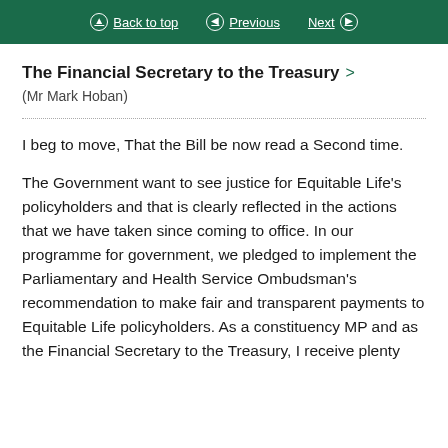Back to top | Previous | Next
The Financial Secretary to the Treasury >
(Mr Mark Hoban)
I beg to move, That the Bill be now read a Second time.
The Government want to see justice for Equitable Life's policyholders and that is clearly reflected in the actions that we have taken since coming to office. In our programme for government, we pledged to implement the Parliamentary and Health Service Ombudsman's recommendation to make fair and transparent payments to Equitable Life policyholders. As a constituency MP and as the Financial Secretary to the Treasury, I receive plenty